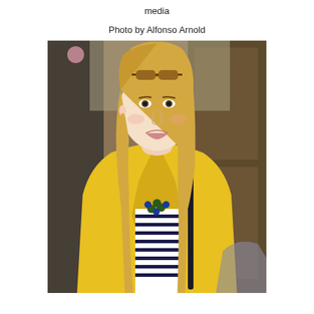media
Photo by Alfonso Arnold
[Figure (photo): A smiling young woman with long blonde hair and sunglasses on top of her head, wearing a bright yellow blazer over a navy and white striped top with a blue and green floral necklace. She appears to be at an event, photographed indoors with a wooden background.]